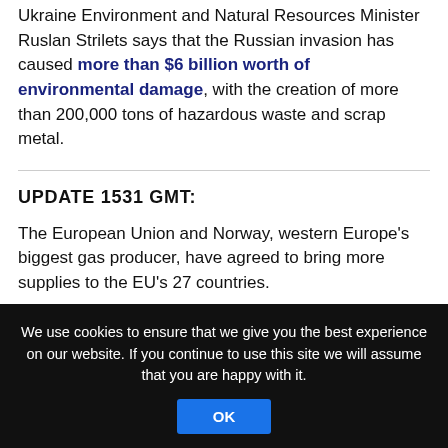Ukraine Environment and Natural Resources Minister Ruslan Strilets says that the Russian invasion has caused more than $6 billion worth of environmental damage, with the creation of more than 200,000 tons of hazardous waste and scrap metal.
UPDATE 1531 GMT:
The European Union and Norway, western Europe's biggest gas producer, have agreed to bring more supplies to the EU's 27 countries.
Strilets reportedly told Reuters Thursday...
We use cookies to ensure that we give you the best experience on our website. If you continue to use this site we will assume that you are happy with it.